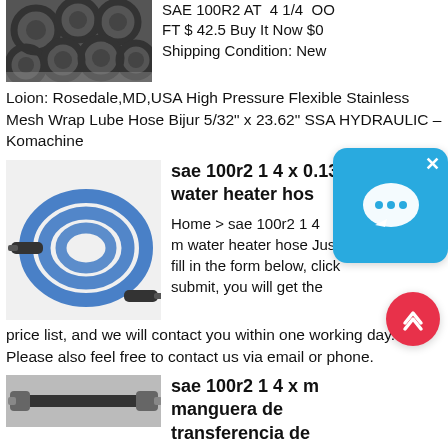[Figure (photo): Photo of black cylindrical pipe ends bundled together]
SAE 100R2 AT 4 1/4 OO FT $ 42.5 Buy It Now $0 Shipping Condition: New
Loion: Rosedale,MD,USA High Pressure Flexible Stainless Mesh Wrap Lube Hose Bijur 5/32" x 23.62" SSA HYDRAULIC – Komachine
[Figure (photo): Photo of a blue coiled hydraulic hose with black fittings on each end]
sae 100r2 1 4 x 0.13 water heater hose
Home > sae 100r2 1 4 x... m water heater hose Just fill in the form below, click submit, you will get the price list, and we will contact you within one working day. Please also feel free to contact us via email or phone.
[Figure (photo): Photo of a black hydraulic hose with metal fittings on each end]
sae 100r2 1 4 x m manguera de transferencia de ácido